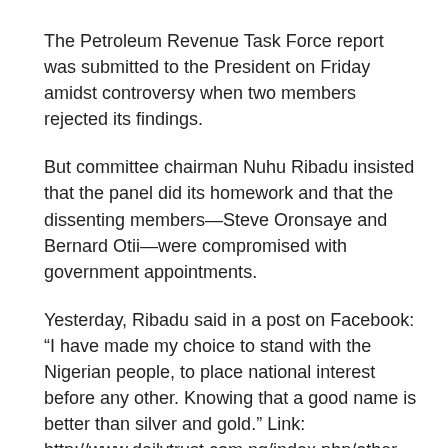The Petroleum Revenue Task Force report was submitted to the President on Friday amidst controversy when two members rejected its findings.
But committee chairman Nuhu Ribadu insisted that the panel did its homework and that the dissenting members—Steve Oronsaye and Bernard Otii—were compromised with government appointments.
Yesterday, Ribadu said in a post on Facebook: “I have made my choice to stand with the Nigerian people, to place national interest before any other. Knowing that a good name is better than silver and gold.” Link: http://www.dailytrust.com.ng/index.php/other-sections/lead-stories/180318-ribadu-report-fg-illegally-siphoned-n51bn-from-nnpc